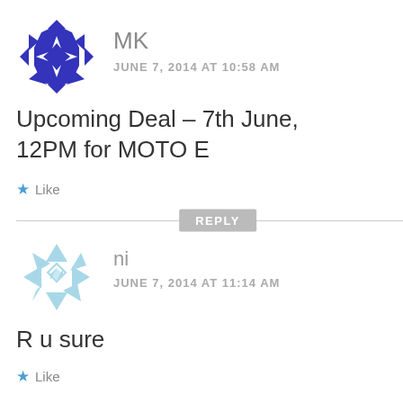[Figure (illustration): Blue geometric pattern avatar for user MK]
MK
JUNE 7, 2014 AT 10:58 AM
Upcoming Deal – 7th June, 12PM for MOTO E
Like
REPLY
[Figure (illustration): Light blue geometric pattern avatar for user ni]
ni
JUNE 7, 2014 AT 11:14 AM
R u sure
Like